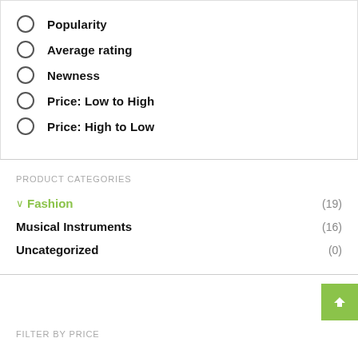Popularity
Average rating
Newness
Price: Low to High
Price: High to Low
PRODUCT CATEGORIES
Fashion (19)
Musical Instruments (16)
Uncategorized (0)
FILTER BY PRICE